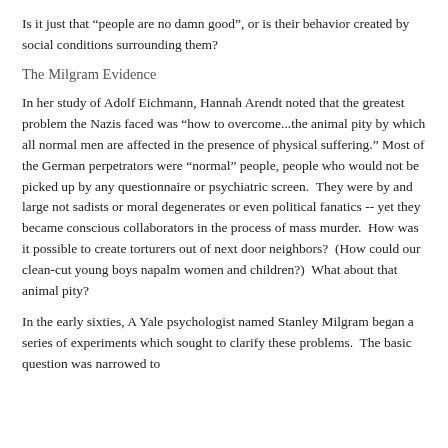Is it just that “people are no damn good”, or is their behavior created by social conditions surrounding them?
The Milgram Evidence
In her study of Adolf Eichmann, Hannah Arendt noted that the greatest problem the Nazis faced was “how to overcome...the animal pity by which all normal men are affected in the presence of physical suffering.” Most of the German perpetrators were “normal” people, people who would not be picked up by any questionnaire or psychiatric screen.  They were by and large not sadists or moral degenerates or even political fanatics -- yet they became conscious collaborators in the process of mass murder.  How was it possible to create torturers out of next door neighbors?  (How could our  clean-cut young boys napalm women and children?)  What about that animal pity?
In the early sixties, A Yale psychologist named Stanley Milgram began a series of experiments which sought to clarify these problems.  The basic question was narrowed to